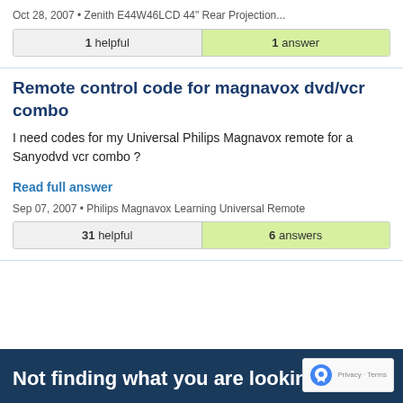Oct 28, 2007 • Zenith E44W46LCD 44" Rear Projection...
| 1 helpful | 1 answer |
| --- | --- |
Remote control code for magnavox dvd/vcr combo
I need codes for my Universal Philips Magnavox remote for a Sanyodvd vcr combo ?
Read full answer
Sep 07, 2007 • Philips Magnavox Learning Universal Remote
| 31 helpful | 6 answers |
| --- | --- |
Not finding what you are looking for?